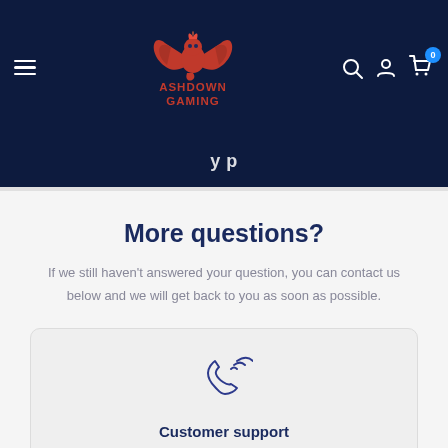[Figure (logo): Ashdown Gaming logo — red phoenix/dragon with wings above text ASHDOWN GAMING in red on dark navy background]
More questions?
If we still haven't answered your question, you can contact us below and we will get back to you as soon as possible.
[Figure (illustration): Phone/call icon in dark blue outline style with signal waves]
Customer support